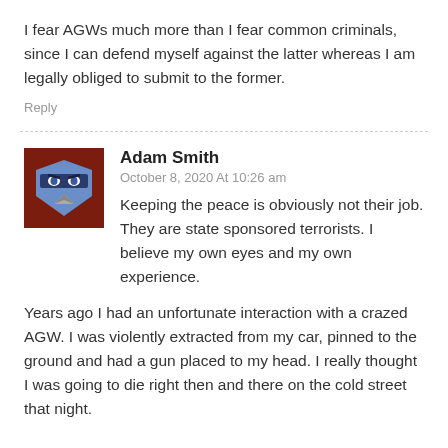I fear AGWs much more than I fear common criminals, since I can defend myself against the latter whereas I am legally obliged to submit to the former.
Reply
Adam Smith
October 8, 2020 At 10:26 am
Keeping the peace is obviously not their job. They are state sponsored terrorists. I believe my own eyes and my own experience.
Years ago I had an unfortunate interaction with a crazed AGW. I was violently extracted from my car, pinned to the ground and had a gun placed to my head. I really thought I was going to die right then and there on the cold street that night.